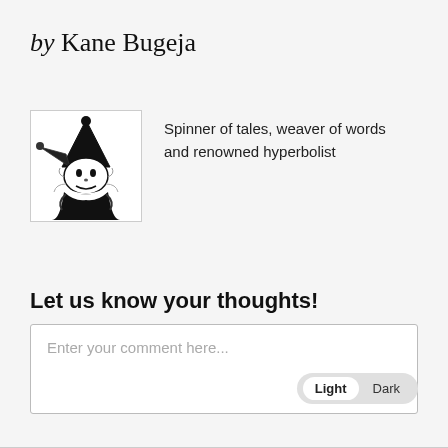by Kane Bugeja
[Figure (illustration): Black and white illustration of a jester/wizard character wearing a pointed hat with a bell, holding what appears to be a mask or face, depicted in a stylized comic/manga art style.]
Spinner of tales, weaver of words and renowned hyperbolist
Let us know your thoughts!
Enter your comment here...